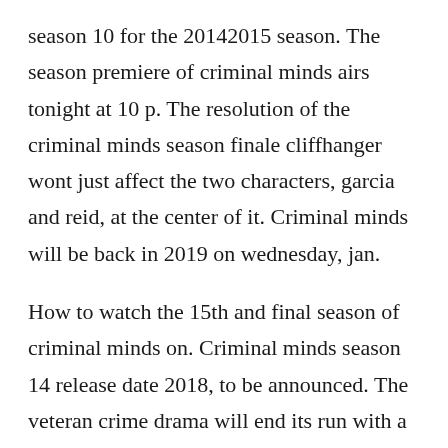season 10 for the 20142015 season. The season premiere of criminal minds airs tonight at 10 p. The resolution of the criminal minds season finale cliffhanger wont just affect the two characters, garcia and reid, at the center of it. Criminal minds will be back in 2019 on wednesday, jan.
How to watch the 15th and final season of criminal minds on. Criminal minds season 14 release date 2018, to be announced. The veteran crime drama will end its run with a twohour series finale from 911 pm on